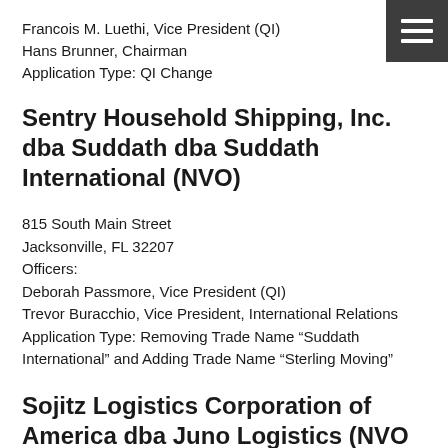Francois M. Luethi, Vice President (QI)
Hans Brunner, Chairman
Application Type: QI Change
Sentry Household Shipping, Inc. dba Suddath dba Suddath International (NVO)
815 South Main Street
Jacksonville, FL 32207
Officers:
Deborah Passmore, Vice President (QI)
Trevor Buracchio, Vice President, International Relations
Application Type: Removing Trade Name “Suddath International” and Adding Trade Name “Sterling Moving”
Sojitz Logistics Corporation of America dba Juno Logistics (NVO & OFF)